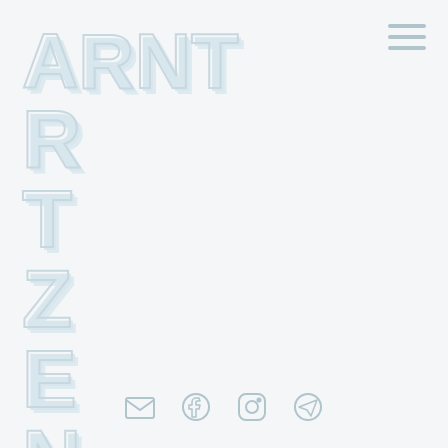[Figure (logo): ARNTZEN logo with 3D outlined block letters. ARNT displayed horizontally on first row, then R, T, Z, E, N stacked vertically, all in light blue-gray outlined style on light background.]
[Figure (other): Hamburger menu icon (three horizontal lines) in top right corner]
[Figure (other): Social media icons row at bottom: email envelope, Facebook, Instagram, Telegram/circle icons in light blue-gray]